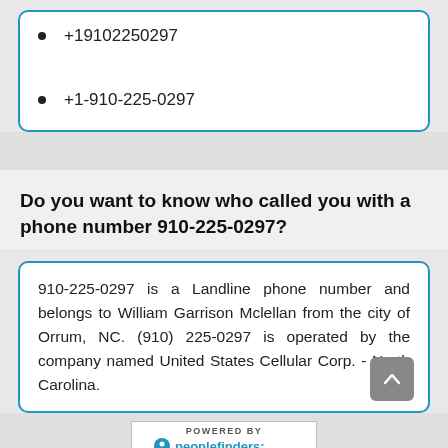+19102250297
+1-910-225-0297
Do you want to know who called you with a phone number 910-225-0297?
910-225-0297 is a Landline phone number and belongs to William Garrison Mclellan from the city of Orrum, NC. (910) 225-0297 is operated by the company named United States Cellular Corp. - North Carolina.
[Figure (logo): POWERED BY peoplefinders logo]